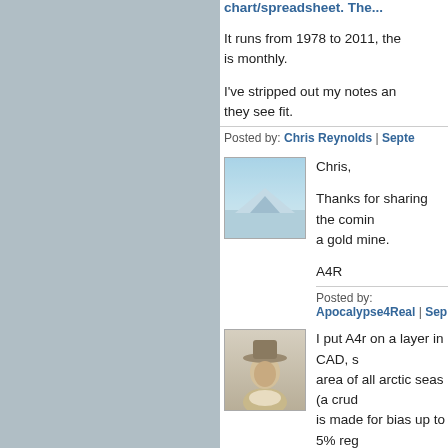chart/spreadsheet. The...
It runs from 1978 to 2011, the... is monthly.
I've stripped out my notes and... they see fit.
Posted by: Chris Reynolds | Septe...
[Figure (photo): Avatar image showing an icy/arctic scene with blue tones]
Chris,
Thanks for sharing the comin... a gold mine.
A4R
Posted by: Apocalypse4Real | Sep...
[Figure (photo): Avatar image showing a historical portrait of a man in a wide-brimmed hat]
I put A4r on a layer in CAD, s... area of all arctic seas (a crud... is made for bias up to 5% reg... the lines of even thickness (... What I come up with is a reas... is taken within the different ar...